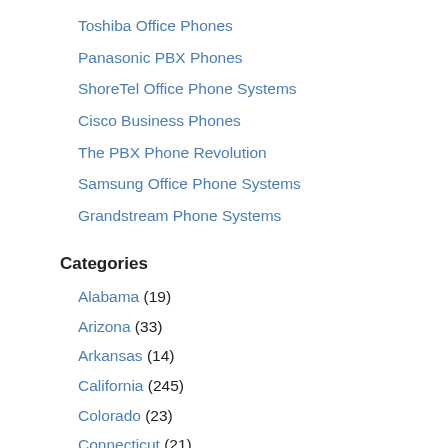Toshiba Office Phones
Panasonic PBX Phones
ShoreTel Office Phone Systems
Cisco Business Phones
The PBX Phone Revolution
Samsung Office Phone Systems
Grandstream Phone Systems
Categories
Alabama (19)
Arizona (33)
Arkansas (14)
California (245)
Colorado (23)
Connecticut (21)
Delaware (3)
Florida (109)
Georgia (79)
Hawaii (1)
Idaho (9)
Illinois (201)